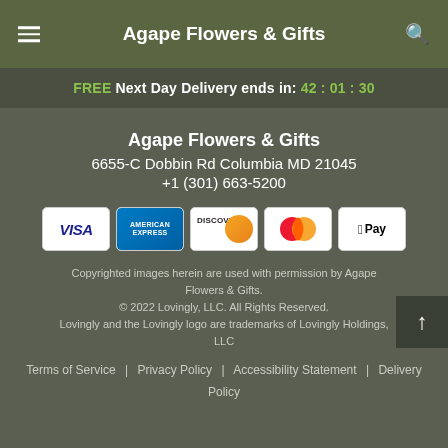Agape Flowers & Gifts
FREE Next Day Delivery ends in: 42:01:30
Agape Flowers & Gifts
6655-C Dobbin Rd Columbia MD 21045
+1 (301) 663-5200
[Figure (illustration): Payment method icons: Visa, American Express, Discover, Mastercard, Apple Pay]
Copyrighted images herein are used with permission by Agape Flowers & Gifts.
© 2022 Lovingly, LLC. All Rights Reserved.
Lovingly and the Lovingly logo are trademarks of Lovingly Holdings, LLC
Terms of Service | Privacy Policy | Accessibility Statement | Delivery Policy